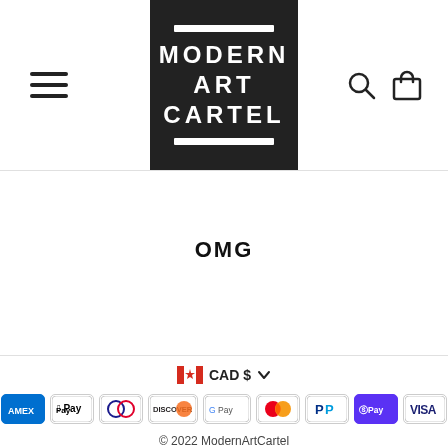[Figure (logo): Modern Art Cartel logo — black square with white bars and text reading MODERN ART CARTEL]
OMG
[Figure (infographic): Payment method icons: Amex, Apple Pay, Diners, Discover, Google Pay, Mastercard, PayPal, Shop Pay, Visa; with Canadian flag CAD $ currency selector]
© 2022 ModernArtCartel